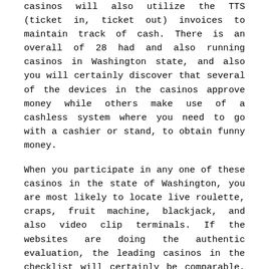casinos will also utilize the TTS (ticket in, ticket out) invoices to maintain track of cash. There is an overall of 28 had and also running casinos in Washington state, and also you will certainly discover that several of the devices in the casinos approve money while others make use of a cashless system where you need to go with a cashier or stand, to obtain funny money.
When you participate in any one of these casinos in the state of Washington, you are most likely to locate live roulette, craps, fruit machine, blackjack, and also video clip terminals. If the websites are doing the authentic evaluation, the leading casinos in the checklist will certainly be comparable, although it is not precisely the same. You will certainly additionally discover bingo, baccarat, casino poker, and also much more. There are practically no different coin-based fruit machines at casinos, yet you can still choose smaller-sized religions after putting in cash. They likewise have